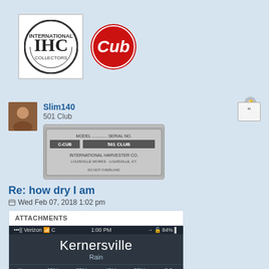[Figure (logo): IHC International Collectors logo (circular emblem) and Cub red circular logo]
[Figure (photo): Avatar/profile photo of user Slim140]
Slim140
501 Club
[Figure (photo): IH Cub 501 Club metal plate/badge image]
Re: how dry I am
Wed Feb 07, 2018 1:02 pm
John, I feel your rain 😁
ATTACHMENTS
[Figure (screenshot): iPhone weather screenshot showing Kernersville, Rain, 1:00 PM, Verizon, 84% battery. Hourly: Now, 2PM 90%, 3PM 100%, 4PM 60%, 5PM 60%, 5:5... Temps: 49°, 50°, 49°, 49°, 52°, Su... Thursday 49 30]